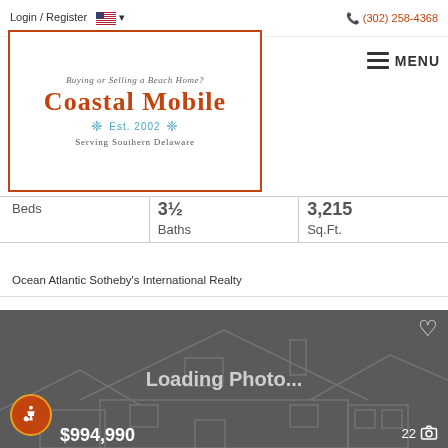Login / Register    (302) 258-4368
[Figure (logo): Coastal Mobile real estate logo with orange border. Text: 'Buying or Selling a Beach Home? Coastal Mobile Est. 2002 Serving Southern Delaware']
| Beds | Baths | Sq.Ft. |
| --- | --- | --- |
|  | 3½ | 3,215 |
Ocean Atlantic Sotheby's International Realty
[Figure (photo): Loading Photo... placeholder card with house outline silhouette in dark gray. Shows $994,990 price at bottom left and 22 photos count at bottom right. Accessibility icon at bottom left. Heart/favorite icon at top right.]